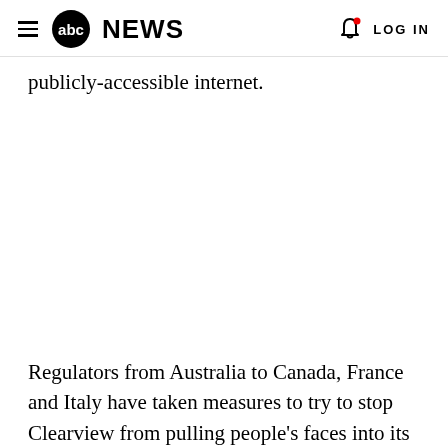abc NEWS  LOG IN
publicly-accessible internet.
Regulators from Australia to Canada, France and Italy have taken measures to try to stop Clearview from pulling people's faces into its